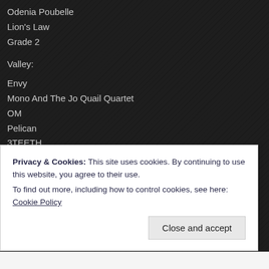Odenia Poubelle
Lion's Law
Grade 2
Valley:
Envy
Mono And The Jo Quail Quartet
OM
Pelican
3TEETH
The Picturebooks
Me And That Man
Duel
Point Mort
Altar:
Privacy & Cookies: This site uses cookies. By continuing to use this website, you agree to their use. To find out more, including how to control cookies, see here: Cookie Policy